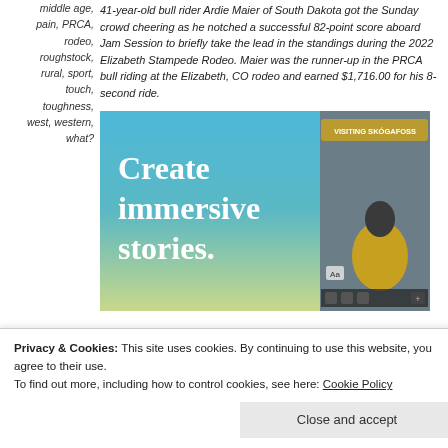middle age, pain, PRCA, rodeo, roughstock, rural, sport, touch, toughness, west, western, what?
41-year-old bull rider Ardie Maier of South Dakota got the Sunday crowd cheering as he notched a successful 82-point score aboard Jam Session to briefly take the lead in the standings during the 2022 Elizabeth Stampede Rodeo. Maier was the runner-up in the PRCA bull riding at the Elizabeth, CO rodeo and earned $1,716.00 for his 8-second ride.
[Figure (screenshot): Advertisement showing a blue gradient background on the left with white text reading 'Create immersive stories.' and on the right a phone screen showing a waterfall image with text 'VISITING SKOGAFOSS' and a person in a yellow jacket.]
Privacy & Cookies: This site uses cookies. By continuing to use this website, you agree to their use. To find out more, including how to control cookies, see here: Cookie Policy
Close and accept